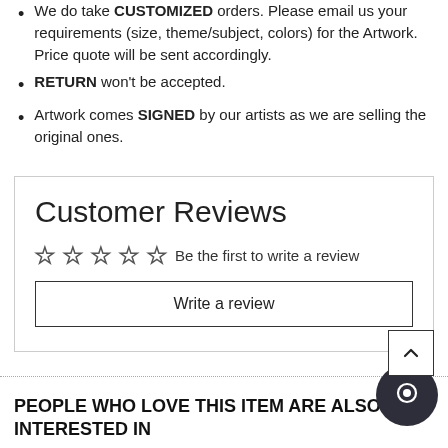We do take CUSTOMIZED orders. Please email us your requirements (size, theme/subject, colors) for the Artwork. Price quote will be sent accordingly.
RETURN won't be accepted.
Artwork comes SIGNED by our artists as we are selling the original ones.
Customer Reviews
Be the first to write a review
Write a review
PEOPLE WHO LOVE THIS ITEM ARE ALSO INTERESTED IN